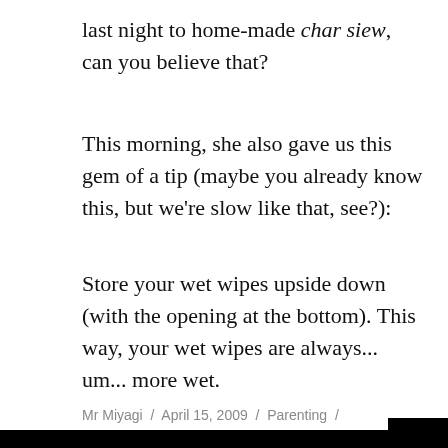last night to home-made char siew, can you believe that?
This morning, she also gave us this gem of a tip (maybe you already know this, but we're slow like that, see?):
Store your wet wipes upside down (with the opening at the bottom). This way, your wet wipes are always... um... more wet.
Mr Miyagi / April 15, 2009 / Parenting / confinement, confinement nanny, diet, household tips, newborn, post natal, quackery / 5 Comments